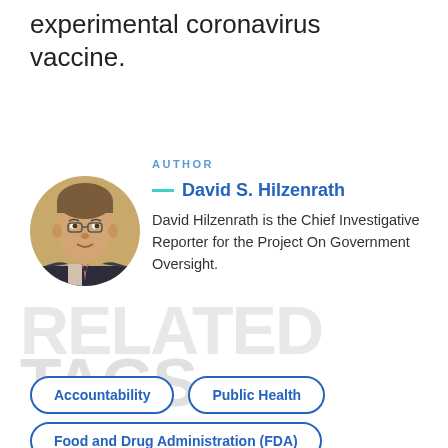experimental coronavirus vaccine.
AUTHOR
David S. Hilzenrath
David Hilzenrath is the Chief Investigative Reporter for the Project On Government Oversight.
RELATED TAGS
Accountability
Public Health
Food and Drug Administration (FDA)